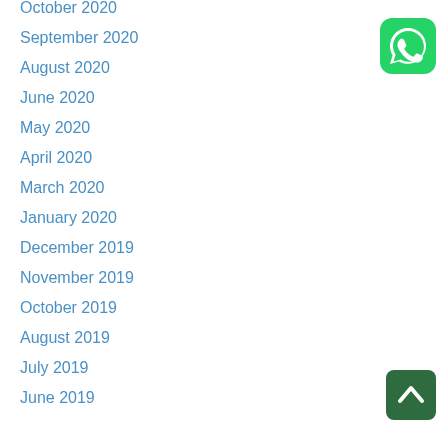October 2020
September 2020
August 2020
June 2020
May 2020
April 2020
March 2020
January 2020
December 2019
November 2019
October 2019
August 2019
July 2019
June 2019
[Figure (logo): WhatsApp green rounded square icon with white phone handset]
[Figure (other): Dark green rounded square button with white upward chevron arrow for scroll to top]